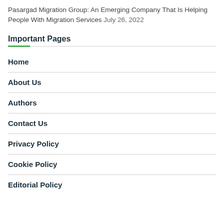Pasargad Migration Group: An Emerging Company That Is Helping People With Migration Services July 26, 2022
Important Pages
Home
About Us
Authors
Contact Us
Privacy Policy
Cookie Policy
Editorial Policy